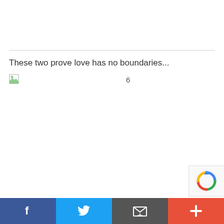These two prove love has no boundaries...
[Figure (other): Broken image placeholder with a small icon]
6
[Figure (other): reCAPTCHA badge logo]
Social share bar with Facebook, Twitter, Email, and Plus buttons